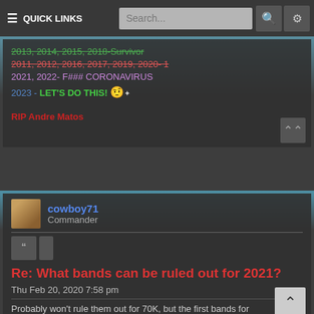≡ QUICK LINKS  Search...  🔍  ⚙
2013, 2014, 2015, 2018-Survivor
2011, 2012, 2016, 2017, 2019, 2020- 1
2021, 2022- F### CORONAVIRUS
2023 - LET'S DO THIS! 😠
RIP Andre Matos
cowboy71
Commander
Re: What bands can be ruled out for 2021?
Thu Feb 20, 2020 7:58 pm
Probably won't rule them out for 70K, but the first bands for